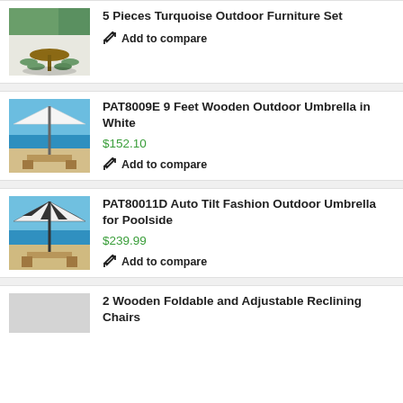[Figure (photo): Outdoor turquoise furniture set with round table and stools on a patio]
5 Pieces Turquoise Outdoor Furniture Set
Add to compare
[Figure (photo): White wooden outdoor umbrella on a beach/poolside setting]
PAT8009E 9 Feet Wooden Outdoor Umbrella in White
$152.10
Add to compare
[Figure (photo): Striped auto tilt outdoor umbrella for poolside use]
PAT80011D Auto Tilt Fashion Outdoor Umbrella for Poolside
$239.99
Add to compare
2 Wooden Foldable and Adjustable Reclining Chairs